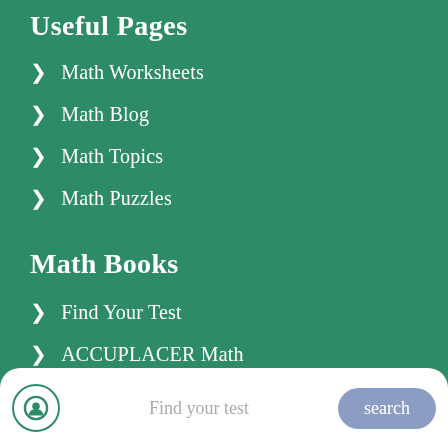Useful Pages
Math Worksheets
Math Blog
Math Topics
Math Puzzles
Math Books
Find Your Test
ACCUPLACER Math
ACT Math
(partially visible item)
Find your test | search